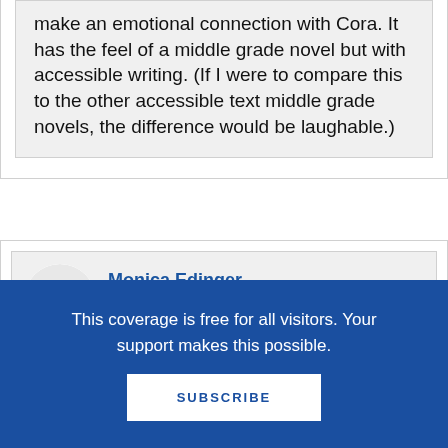make an emotional connection with Cora. It has the feel of a middle grade novel but with accessible writing. (If I were to compare this to the other accessible text middle grade novels, the difference would be laughable.)
Monica Edinger says
February 3, 2018 at 9:03 am
This coverage is free for all visitors. Your support makes this possible.
SUBSCRIBE